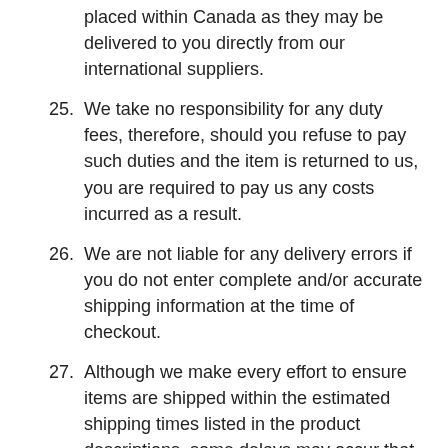placed within Canada as they may be delivered to you directly from our international suppliers.
25. We take no responsibility for any duty fees, therefore, should you refuse to pay such duties and the item is returned to us, you are required to pay us any costs incurred as a result.
26. We are not liable for any delivery errors if you do not enter complete and/or accurate shipping information at the time of checkout.
27. Although we make every effort to ensure items are shipped within the estimated shipping times listed in the product descriptions, some delays may occur that are not within our control. You may track your order using the tracking number provided in the Confirmation of Shipping email.